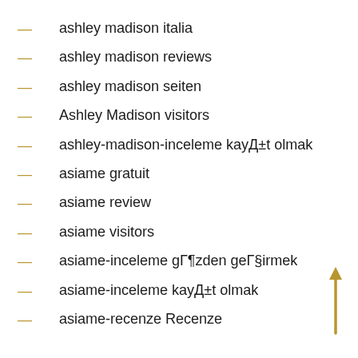ashley madison italia
ashley madison reviews
ashley madison seiten
Ashley Madison visitors
ashley-madison-inceleme kayД±t olmak
asiame gratuit
asiame review
asiame visitors
asiame-inceleme gГ¶zden geГ§irmek
asiame-inceleme kayД±t olmak
asiame-recenze Recenze